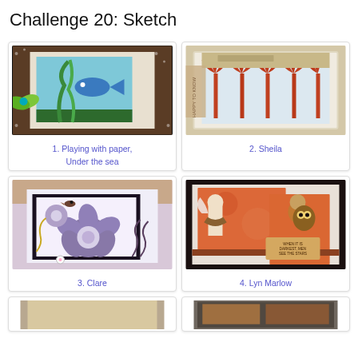Challenge 20: Sketch
[Figure (photo): Handmade card with fish underwater theme, blue/teal background, green bow, dark floral border]
1. Playing with paper, Under the sea
[Figure (photo): Handmade card with red/orange tree silhouettes on light blue background, scalloped edge]
2. Sheila
[Figure (photo): Handmade card with floral design in purple/grey tones, decorative flowers and scrolls]
3. Clare
[Figure (photo): Handmade card with figures in orange/red tones, dark border, small text label]
4. Lyn Marlow
[Figure (photo): Partial view of another handmade card (5th entry, cut off at bottom)]
[Figure (photo): Partial view of another handmade card (6th entry, cut off at bottom)]